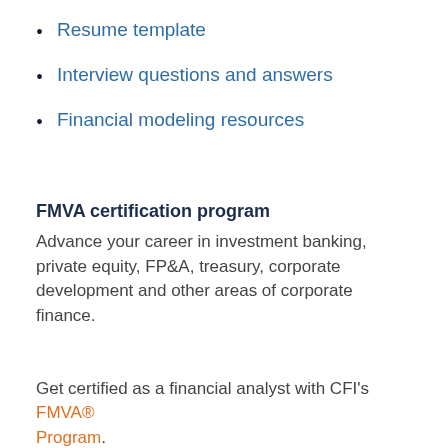Resume template
Interview questions and answers
Financial modeling resources
FMVA certification program
Advance your career in investment banking, private equity, FP&A, treasury, corporate development and other areas of corporate finance.
Get certified as a financial analyst with CFI's FMVA® Program.